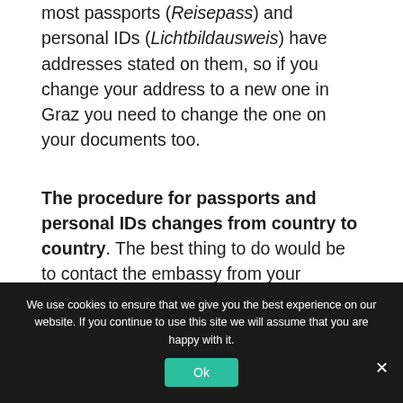most passports (Reisepass) and personal IDs (Lichtbildausweis) have addresses stated on them, so if you change your address to a new one in Graz you need to change the one on your documents too.
The procedure for passports and personal IDs changes from country to country. The best thing to do would be to contact the embassy from your
We use cookies to ensure that we give you the best experience on our website. If you continue to use this site we will assume that you are happy with it.